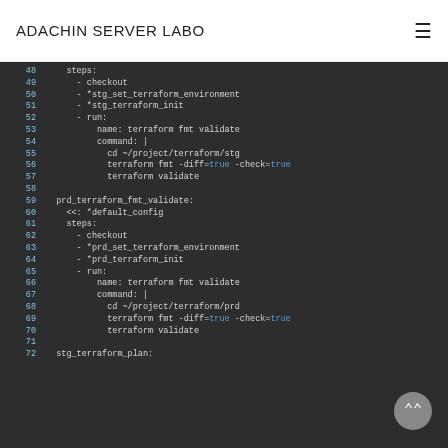ADACHIN SERVER LABO
[Figure (screenshot): Code editor screenshot showing YAML CI configuration lines 48-72, with line numbers in cyan, code in light gray, and keywords 'true' highlighted in blue, on a dark background (#2d2d2d). Content includes terraform fmt validate steps for stg and prd environments.]